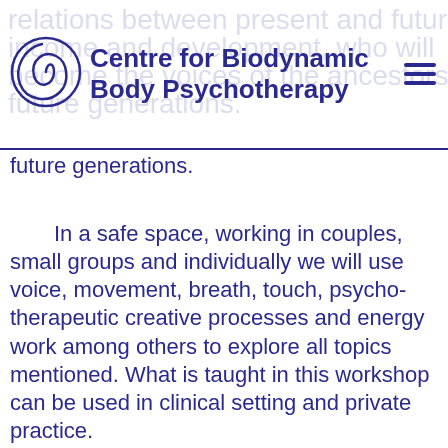Centre for Biodynamic Body Psychotherapy
relations between present and future income and development, who will become the voices of the ancestors to future generations.
In a safe space, working in couples, small groups and individually we will use voice, movement, breath, touch, psychotherapeutic creative processes and energy work among others to explore all topics mentioned. What is taught in this workshop can be used in clinical setting and private practice.